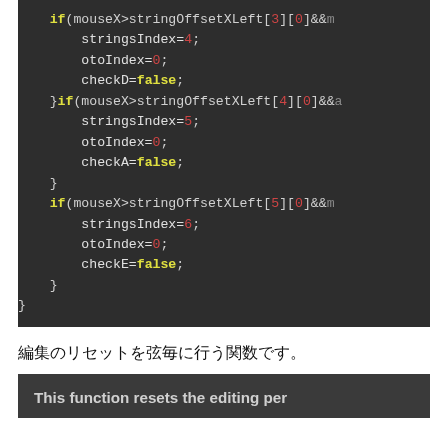[Figure (screenshot): Dark-themed code editor screenshot showing code block with if statements checking mouseX against stringOffsetXLeft array values, setting stringsIndex, otoIndex, and check variables to false.]
編集のリセットを弦毎に行う関数です。
[Figure (screenshot): Dark-themed comment block starting with 'This function resets the editing per...']